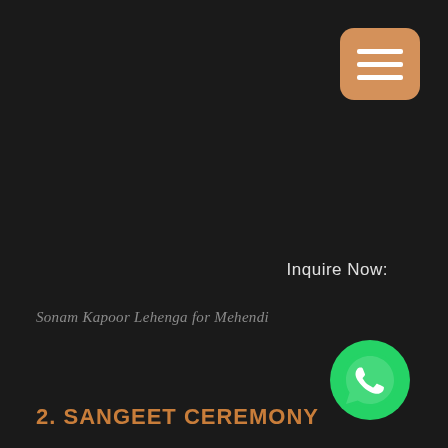[Figure (other): Orange/tan rounded square button with three horizontal white lines (hamburger/menu icon) in the top-right corner]
[Figure (photo): Dark background image – appears to be a very dark or nearly black photograph taking up most of the page]
Sonam Kapoor Lehenga for Mehendi
Inquire Now:
[Figure (logo): WhatsApp green circular logo with white phone handset icon]
2. SANGEET CEREMONY